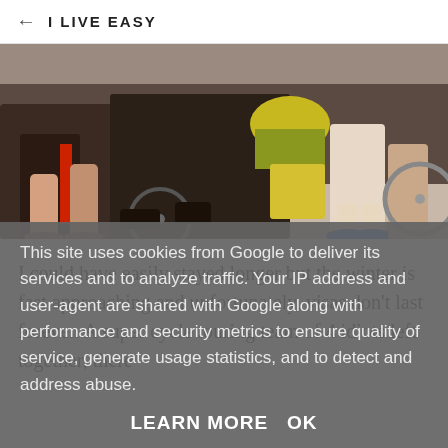← I LIVE EASY
[Figure (photo): Group of cyclists with loaded touring bikes and gear, showing legs, feet, helmets, and bags from waist down.]
I could have easily stayed longer but the winter is fast approaching and unfortunately, visas don't last forever. A super cycle touring team of 4 idiots left together, there
This site uses cookies from Google to deliver its services and to analyze traffic. Your IP address and user-agent are shared with Google along with performance and security metrics to ensure quality of service, generate usage statistics, and to detect and address abuse.
LEARN MORE   OK